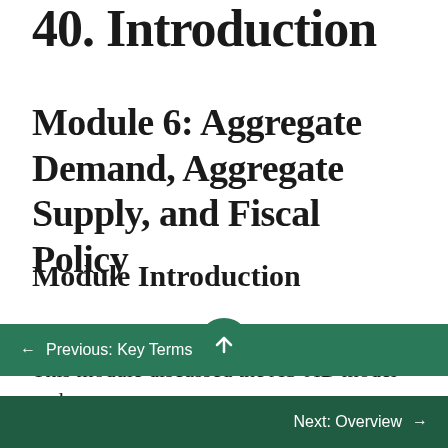40. Introduction
Module 6: Aggregate Demand, Aggregate Supply, and Fiscal Policy
Module Introduction
This module discussed the AS-AD model and
← Previous: Key Terms
Next: Overview →